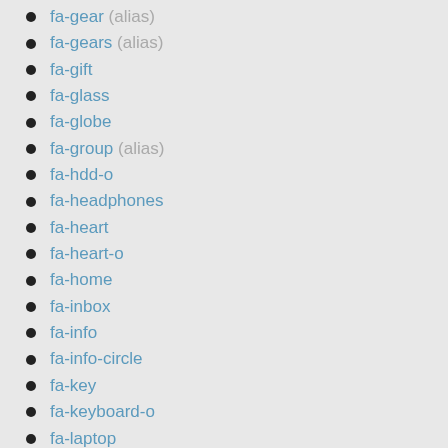fa-gear (alias)
fa-gears (alias)
fa-gift
fa-glass
fa-globe
fa-group (alias)
fa-hdd-o
fa-headphones
fa-heart
fa-heart-o
fa-home
fa-inbox
fa-info
fa-info-circle
fa-key
fa-keyboard-o
fa-laptop
fa-leaf
fa-legal (alias)
fa-lemon-o
fa-level-down
fa-level-up
fa-lightbulb-o